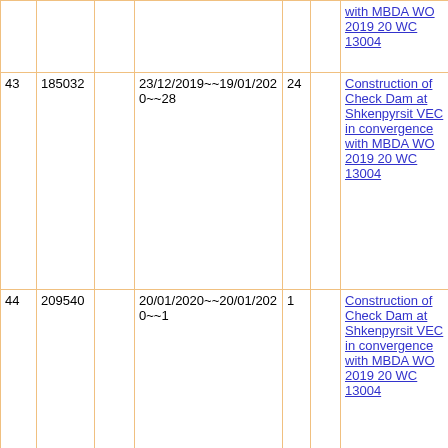| # | Amount |  | Date Range / Duration | Days | Extra | Work Description |
| --- | --- | --- | --- | --- | --- | --- |
|  |  |  |  |  |  | with MBDA WO 2019 20 WC 13004 |
| 43 | 185032 |  | 23/12/2019~~19/01/2020~~28 | 24 |  | Construction of Check Dam at Shkenpyrsit VEC in convergence with MBDA WO 2019 20 WC 13004 |
| 44 | 209540 |  | 20/01/2020~~20/01/2020~~1 | 1 |  | Construction of Check Dam at Shkenpyrsit VEC in convergence with MBDA WO 2019 20 WC 13004 |
| 45 | 212819 |  | 21/01/2020~~31/01/2020~~11 | 10 |  | Construction of C C Motorable Road at Shkenpyrsit VEC Length 45m WO 2019 20 RC 44172 |
| 46 | 10262 |  | 07/05/2020~~09/05/2020~~3 | 3 |  | Tree Plantation at Shkenpyrsit VEC WO 2020 21 DP 13062 |
| 47 | 162380 |  | 06/11/2020~~07/12/2020~~32 | 28 |  | Construction of C C Motorable Road Ph II at Shkenpyrsit |